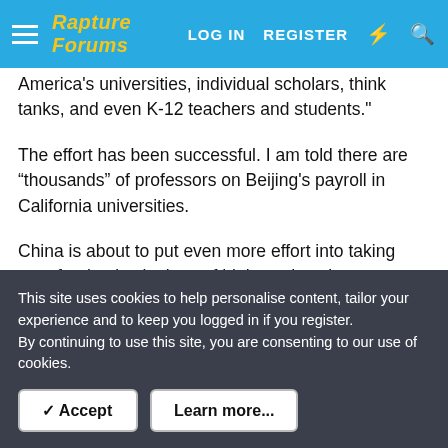Rapture Forums | LOG IN | REGISTER
America's universities, individual scholars, think tanks, and even K-12 teachers and students."
The effort has been successful. I am told there are “thousands” of professors on Beijing's payroll in California universities.
China is about to put even more effort into taking over foreign institutions of higher education. “Chinese ruler Xi Jinping in a major speech in September stressed that it is a regime priority to attract foreign professionals to transfer state-of-the-art scientific know-how to China, saying this is crucial to China's technological self-reliance and national rejuvenation,” says Burton, the Canadian academic now at the Ottawa-based
This site uses cookies to help personalise content, tailor your experience and to keep you logged in if you register.
By continuing to use this site, you are consenting to our use of cookies.